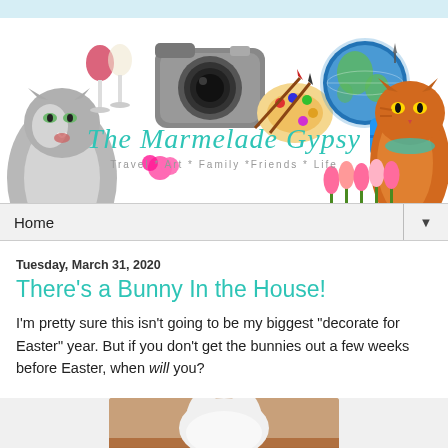[Figure (illustration): The Marmelade Gypsy blog header banner with cats, wine glasses, camera, paint palette, globe, suitcase, flowers, and cursive logo text 'The Marmelade Gypsy' with subtitle 'Travel * Art * Family *Friends * Life']
Home
Tuesday, March 31, 2020
There's a Bunny In the House!
I'm pretty sure this isn't going to be my biggest "decorate for Easter" year. But if you don't get the bunnies out a few weeks before Easter, when will you?
[Figure (photo): Partial photo showing white fluffy bunny on a wooden surface]